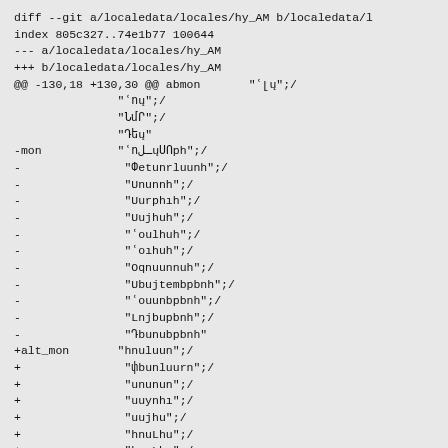diff --git a/localedata/locales/hy_AM b/localedata/l
index 805c327..74e1b77 100644
--- a/localedata/locales/hy_AM
+++ b/localedata/locales/hy_AM
@@ -130,18 +130,30 @@ abmon       "<lu";/
               "<nu";/
               "Lup";/
               "7bu"
-mon           "<nuluunh";/
-               "Φbunluunh";/
-               "Uununh";/
-               "Uuphlh";/
-               "Uujhuh";/
-               "<nuLhuh";/
-               "<nuLhuh";/
-               "Oqnuunnuh";/
-               "Ubununpbnh";/
-               "<nuunbpbnh";/
-               "Lnjbupbnh";/
-               "7buunbpbnh"
+alt_mon       "hnuluurn";/
+               "φbunluurn";/
+               "uurnun";/
+               "uuynhu";/
+               "uujhu";/
+               "hnuLhu";/
+               "hnuLhu";/